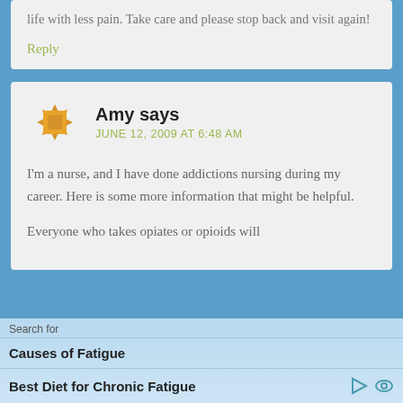life with less pain. Take care and please stop back and visit again!
Reply
Amy says
JUNE 12, 2009 AT 6:48 AM
I'm a nurse, and I have done addictions nursing during my career. Here is some more information that might be helpful.
Everyone who takes opiates or opioids will
Search for
Causes of Fatigue
Best Diet for Chronic Fatigue